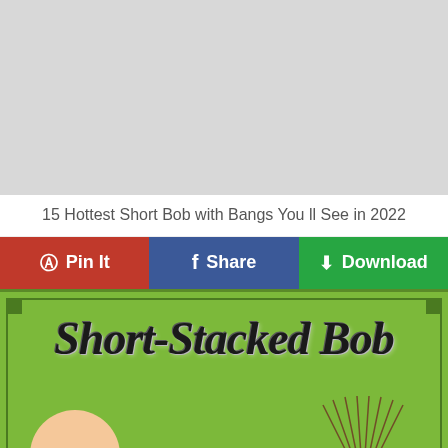[Figure (photo): Large light gray placeholder image area at the top of the page]
15 Hottest Short Bob with Bangs You ll See in 2022
Pin It | Share | Download
[Figure (infographic): Green infographic banner with decorative border and corner squares, featuring large italic script text reading 'Short-Stacked Bob', with a circular face illustration on the lower left and a fan/hair illustration on the lower right]